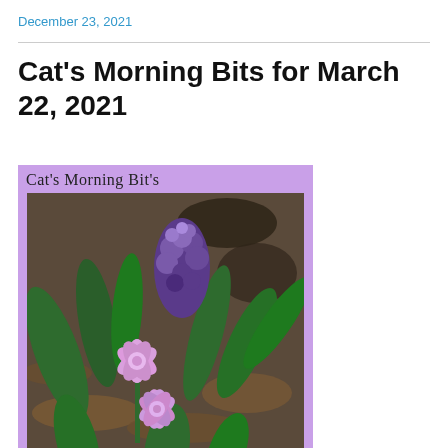December 23, 2021
Cat's Morning Bits for March 22, 2021
[Figure (photo): Cat's Morning Bit's banner with purple hyacinth flowers blooming in garden soil with green leaves]